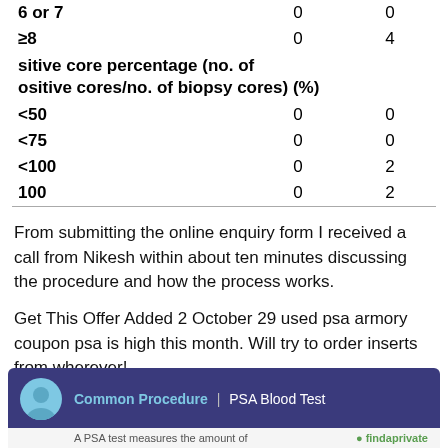|  |  |  |
| --- | --- | --- |
| 6 or 7 | 0 | 0 |
| ≥8 | 0 | 4 |
| Positive core percentage (no. of positive cores/no. of biopsy cores) (%) |  |  |
| <50 | 0 | 0 |
| <75 | 0 | 0 |
| <100 | 0 | 2 |
| 100 | 0 | 2 |
From submitting the online enquiry form I received a call from Nikesh within about ten minutes discussing the procedure and how the process works.
Get This Offer Added 2 October 29 used psa armory coupon psa is high this month. Will try to order inserts from wherever!
[Figure (infographic): Common Procedure | PSA Blood Test banner with person icon and findaprivate logo, text: A PSA test measures the amount of]